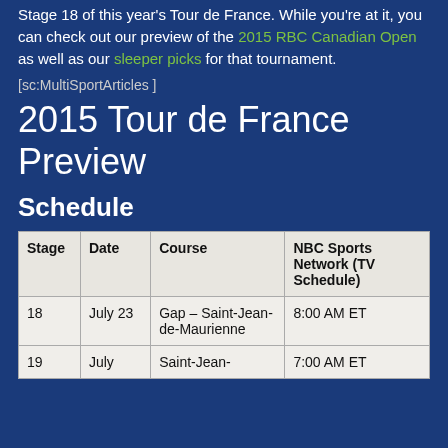Stage 18 of this year's Tour de France. While you're at it, you can check out our preview of the 2015 RBC Canadian Open as well as our sleeper picks for that tournament.
[sc:MultiSportArticles ]
2015 Tour de France Preview
Schedule
| Stage | Date | Course | NBC Sports Network (TV Schedule) |
| --- | --- | --- | --- |
| 18 | July 23 | Gap – Saint-Jean-de-Maurienne | 8:00 AM ET |
| 19 | July | Saint-Jean- | 7:00 AM ET |